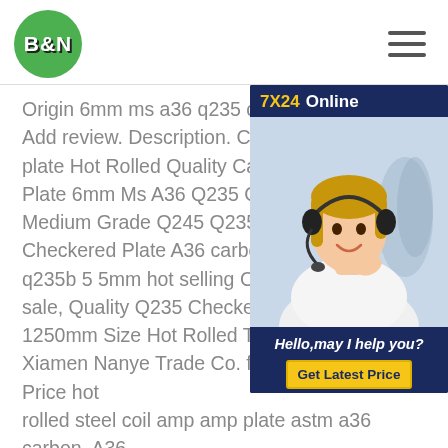B&N
[Figure (infographic): 7X24 Online chat widget with a female customer service agent wearing a headset, text 'Hello, may I help you?' and a 'Get Latest Price' button]
Origin 6mm ms a36 q235 carbon steel Add review. Description. Carbon/mild h plate Hot Rolled Quality Carbon Struct Plate 6mm Ms A36 Q235 Carbon Stee Medium Grade Q245 Q235b Carbon S Checkered Plate A36 carbon checkere q235b 5 5mm hot selling Checkered S sale, Quality Q235 Checkered Steel Pl 1250mm Size Hot Rolled Technical on sale of Xiamen Nanye Trade Co. from China. Get Price hot rolled steel coil amp amp plate astm a36 carbon. A36 SS400 Q235 mild metal steel plate sizes 6mm